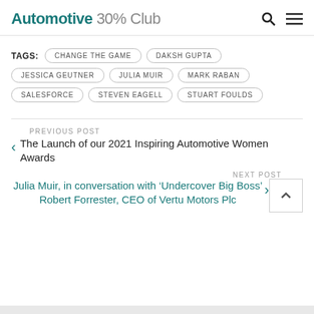Automotive 30% Club
TAGS: CHANGE THE GAME  DAKSH GUPTA  JESSICA GEUTNER  JULIA MUIR  MARK RABAN  SALESFORCE  STEVEN EAGELL  STUART FOULDS
PREVIOUS POST
< The Launch of our 2021 Inspiring Automotive Women Awards
NEXT POST
Julia Muir, in conversation with ‘Undercover Big Boss’ Robert Forrester, CEO of Vertu Motors Plc >